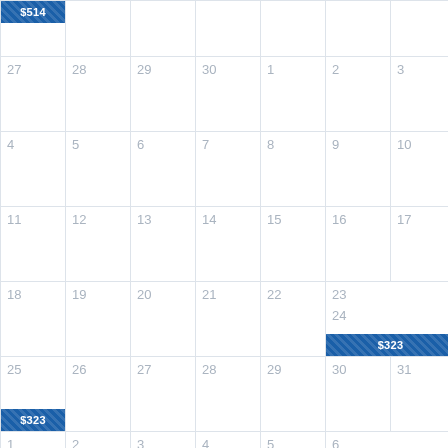| $514 |  |  |  |  |  |  |
| 27 | 28 | 29 | 30 | 1 | 2 | 3 |
| 4 | 5 | 6 | 7 | 8 | 9 | 10 |
| 11 | 12 | 13 | 14 | 15 | 16 | 17 |
| 18 | 19 | 20 | 21 | 22 | 23 $323 | 24 |
| 25 $323 | 26 | 27 | 28 | 29 | 30 | 31 |
| 1 | 2 | 3 | 4 | 5 | 6 $328 | 7 |